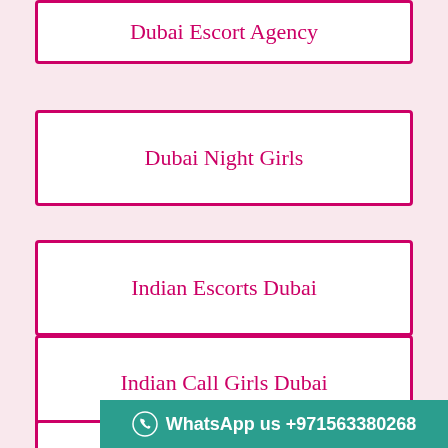Dubai Escort Agency
Dubai Night Girls
Indian Escorts Dubai
Indian Call Girls Dubai
Dubai Call Girls
WhatsApp us +971563380268